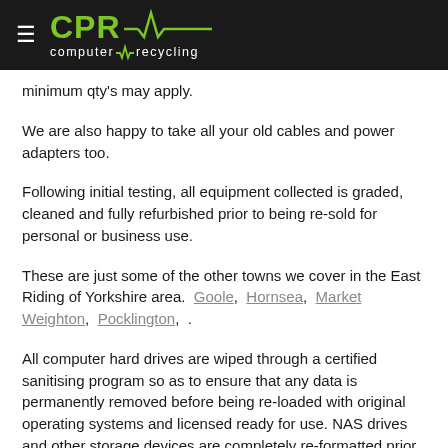CPR computer recycling
minimum qty's may apply.
We are also happy to take all your old cables and power adapters too.
Following initial testing, all equipment collected is graded, cleaned and fully refurbished prior to being re-sold for personal or business use.
These are just some of the other towns we cover in the East Riding of Yorkshire area. Goole, Hornsea, Market Weighton, Pocklington, .
All computer hard drives are wiped through a certified sanitising program so as to ensure that any data is permanently removed before being re-loaded with original operating systems and licensed ready for use. NAS drives and other storage devices are completely re-formatted prior to re-sale.
Our Pocklington Computer Recycling service helps your business or